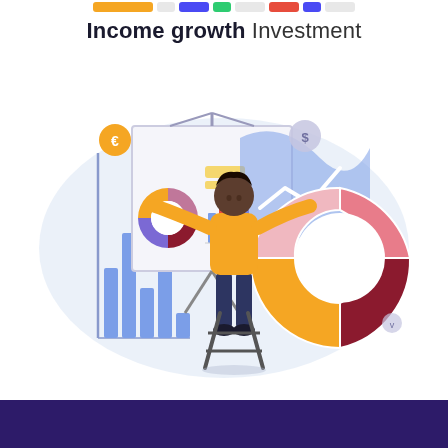decorative colored bar segments at top
Income growth Investment
[Figure (illustration): A flat-style illustration showing a person in a yellow shirt standing on a stepladder, presenting investment and financial growth charts on a whiteboard. The scene includes a large donut chart, bar charts, a line chart area, and a large foreground donut/pie chart with pink, dark red, and golden yellow segments. Currency symbols (euro, dollar) float above. The background is a soft light blue cloud shape.]